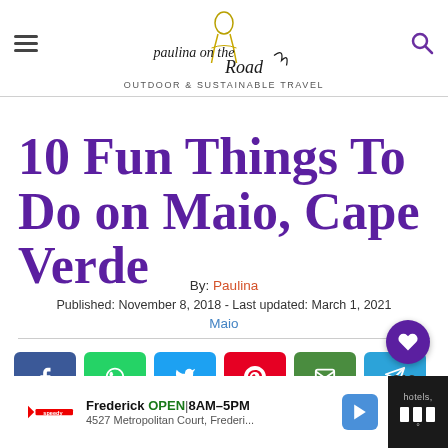[Figure (logo): Paulina on the Road logo with illustrated figure and cursive text, tagline: OUTDOOR & SUSTAINABLE TRAVEL]
10 Fun Things To Do on Maio, Cape Verde
By: Paulina
Published: November 8, 2018 - Last updated: March 1, 2021
Maio
[Figure (infographic): Social sharing buttons: Facebook, WhatsApp, Twitter, Pinterest, Email, Telegram. Heart/like button with 312 count. Share more button.]
[Figure (screenshot): Ad bar: Frederick OPEN 8AM-5PM, 4527 Metropolitan Court, Frederi... with Speedy logo and navigation arrow]